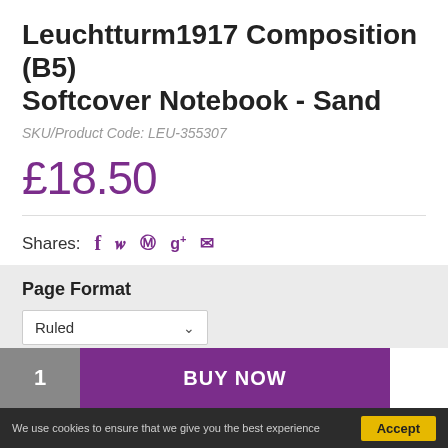Leuchtturm1917 Composition (B5) Softcover Notebook - Sand
SKU/Product Code: LEU-355307
£18.50
Shares: f  𝕨  ®  g+  ✉
Page Format
Ruled
1
BUY NOW
We use cookies to ensure that we give you the best experience
Accept